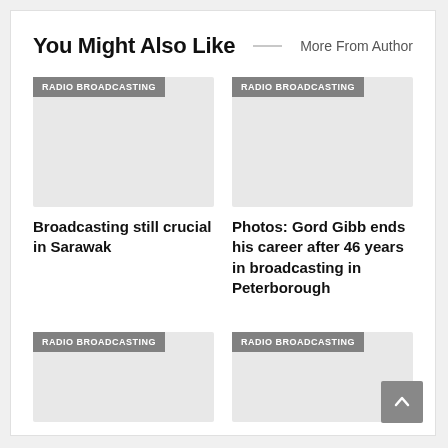You Might Also Like
More From Author
[Figure (illustration): Placeholder image with RADIO BROADCASTING label for article: Broadcasting still crucial in Sarawak]
Broadcasting still crucial in Sarawak
[Figure (illustration): Placeholder image with RADIO BROADCASTING label for article: Photos: Gord Gibb ends his career after 46 years in broadcasting in Peterborough]
Photos: Gord Gibb ends his career after 46 years in broadcasting in Peterborough
[Figure (illustration): Placeholder image with RADIO BROADCASTING label (bottom left card)]
[Figure (illustration): Placeholder image with RADIO BROADCASTING label (bottom right card)]